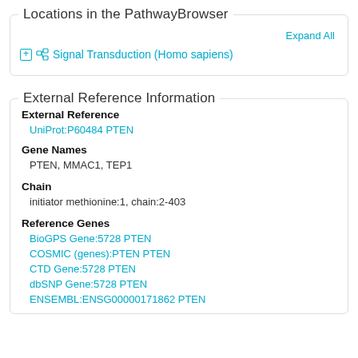Locations in the PathwayBrowser
Expand All
Signal Transduction (Homo sapiens)
External Reference Information
External Reference
UniProt:P60484 PTEN
Gene Names
PTEN, MMAC1, TEP1
Chain
initiator methionine:1, chain:2-403
Reference Genes
BioGPS Gene:5728 PTEN
COSMIC (genes):PTEN PTEN
CTD Gene:5728 PTEN
dbSNP Gene:5728 PTEN
ENSEMBL:ENSG00000171862 PTEN